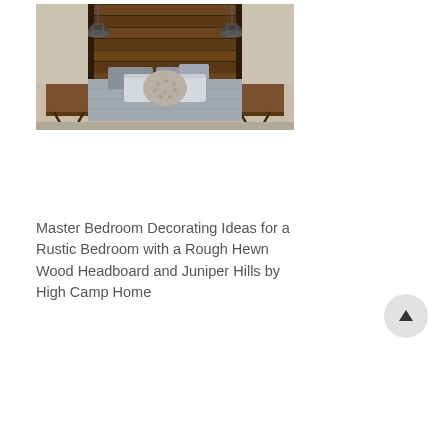[Figure (photo): A rustic bedroom with a rough hewn wood headboard made of horizontal planks, two industrial pendant lights hanging on either side, a bed with gray/blue bedding and pillows including a textured decorative pillow, and wooden nightstands.]
Master Bedroom Decorating Ideas for a Rustic Bedroom with a Rough Hewn Wood Headboard and Juniper Hills by High Camp Home